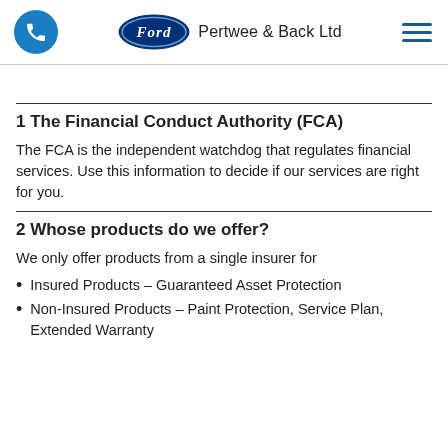[Figure (logo): Header with phone icon circle (blue), Ford oval logo with 'Pertwee & Back Ltd' text, and hamburger menu icon]
1 The Financial Conduct Authority (FCA)
The FCA is the independent watchdog that regulates financial services. Use this information to decide if our services are right for you.
2 Whose products do we offer?
We only offer products from a single insurer for
Insured Products – Guaranteed Asset Protection
Non-Insured Products – Paint Protection, Service Plan, Extended Warranty